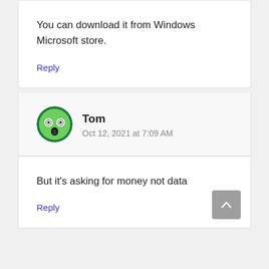You can download it from Windows Microsoft store.
Reply
[Figure (illustration): Green cartoon shocked face avatar for user Tom]
Tom
Oct 12, 2021 at 7:09 AM
But it's asking for money not data
Reply